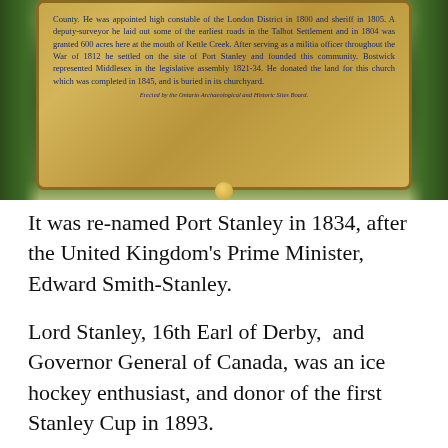[Figure (photo): A historical blue and gold commemorative plaque mounted on a post, with text about Port Stanley and John Bostwick. Green trees visible in background, iron fence to the right.]
It was re-named Port Stanley in 1834, after the United Kingdom's Prime Minister, Edward Smith-Stanley.
Lord Stanley, 16th Earl of Derby,  and Governor General of Canada, was an ice hockey enthusiast, and donor of the first Stanley Cup in 1893.
Believe it or not, in 1832, there was a ferry service